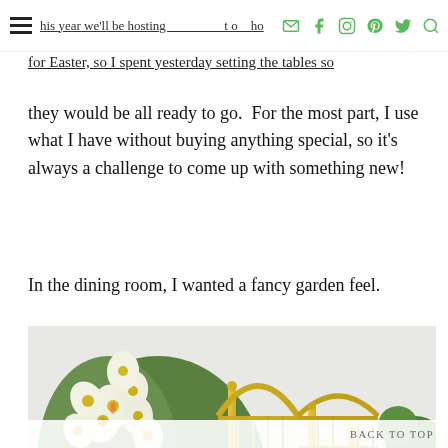This year we'll be hosting my family at home for Easter, so I spent yesterday setting the tables so [nav icons: email, facebook, instagram, pinterest, twitter, search]
they would be all ready to go.  For the most part, I use what I have without buying anything special, so it's always a challenge to come up with something new!
In the dining room, I wanted a fancy garden feel.
[Figure (photo): A dining table centerpiece featuring golden birdcages surrounded by white and yellow alstroemeria flowers, with a blue and white china pot visible in the background and gold-rimmed plates to the right.]
BACK TO TOP